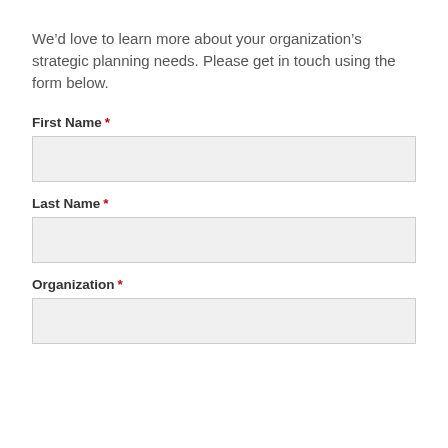We’d love to learn more about your organization’s strategic planning needs. Please get in touch using the form below.
First Name *
Last Name *
Organization *